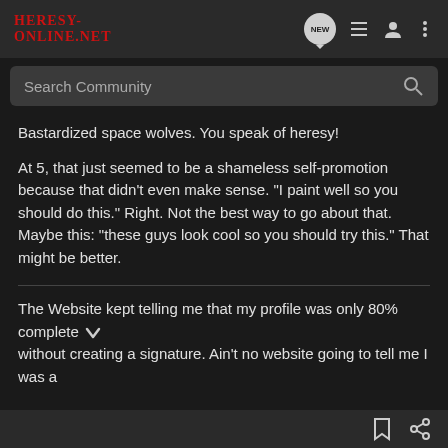Heresy-Online.net
Search Community
Bastardized space wolves. You speak of heresy!
At 5, that just seemed to be a shameless self-promotion because that didn't even make sense. "I paint well so you should do this." Right. Not the best way to go about that. Maybe this: "these guys look cool so you should try this." That might be better.
The Website kept telling me that my profile was only 80% complete without creating a signature. Ain't no website going to tell me I was a